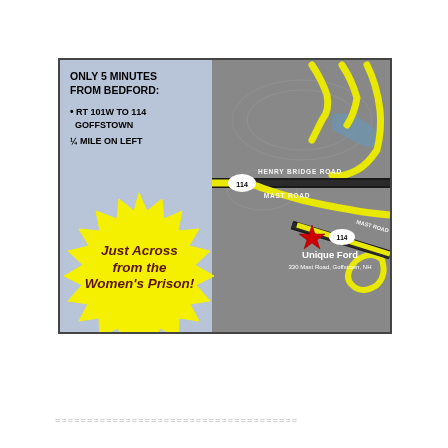[Figure (map): Advertisement for Unique Ford dealership at 330 Mast Road, Goffstown, NH. Left panel has gray-blue background with directions: ONLY 5 MINUTES FROM BEDFORD: RT 101W TO 114 GOFFSTOWN, 1/4 MILE ON LEFT. Yellow starburst burst shape saying 'Just Across from the Women's Prison!' in dark brown italic. Right panel shows a stylized road map with yellow roads labeled 114, HENRY BRIDGE ROAD, MAST ROAD on gray background, with a red star marking Unique Ford location.]
======================================